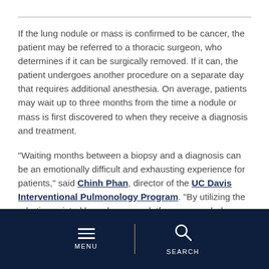If the lung nodule or mass is confirmed to be cancer, the patient may be referred to a thoracic surgeon, who determines if it can be surgically removed. If it can, the patient undergoes another procedure on a separate day that requires additional anesthesia. On average, patients may wait up to three months from the time a nodule or mass is first discovered to when they receive a diagnosis and treatment.
“Waiting months between a biopsy and a diagnosis can be an emotionally difficult and exhausting experience for patients,” said Chinh Phan, director of the UC Davis Interventional Pulmonology Program. “By utilizing the robotic-assisted bronchoscopy platform we can help reduce the anxiety and unnecessary waiting times that patients traditionally experience.”
MENU | SEARCH